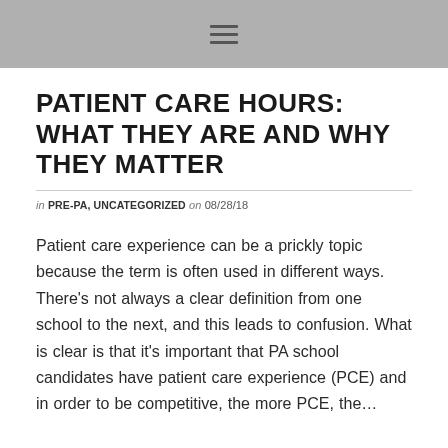≡
PATIENT CARE HOURS: WHAT THEY ARE AND WHY THEY MATTER
in PRE-PA, UNCATEGORIZED on 08/28/18
Patient care experience can be a prickly topic because the term is often used in different ways. There's not always a clear definition from one school to the next, and this leads to confusion. What is clear is that it's important that PA school candidates have patient care experience (PCE) and in order to be competitive, the more PCE, the…